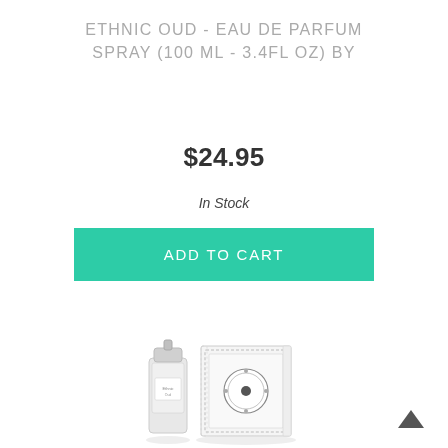ETHNIC OUD - EAU DE PARFUM SPRAY (100 ML - 3.4FL OZ) BY
$24.95
In Stock
ADD TO CART
[Figure (photo): Product photo of Ethnic Oud perfume bottle and box, white/silver ornate packaging]